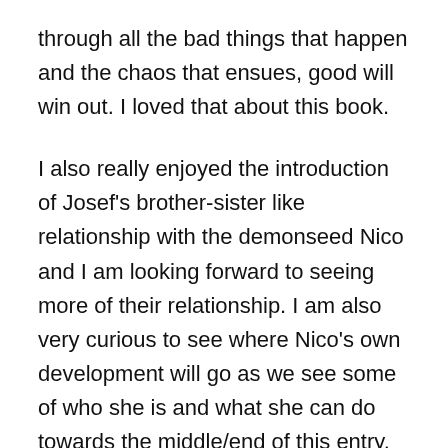through all the bad things that happen and the chaos that ensues, good will win out. I loved that about this book.
I also really enjoyed the introduction of Josef's brother-sister like relationship with the demonseed Nico and I am looking forward to seeing more of their relationship. I am also very curious to see where Nico's own development will go as we see some of who she is and what she can do towards the middle/end of this entry.
Miranda the Spiritualist is a major part of this